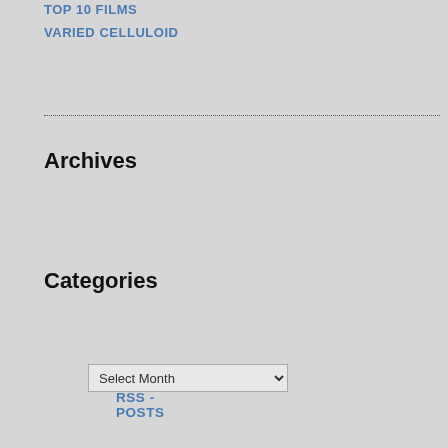TOP 10 FILMS
VARIED CELLULOID
Archives
Select Month
Categories
Select Category
RSS - POSTS